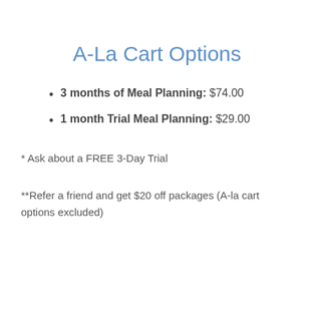A-La Cart Options
3 months of Meal Planning: $74.00
1 month Trial Meal Planning: $29.00
* Ask about a FREE 3-Day Trial
**Refer a friend and get $20 off packages (A-la cart options excluded)